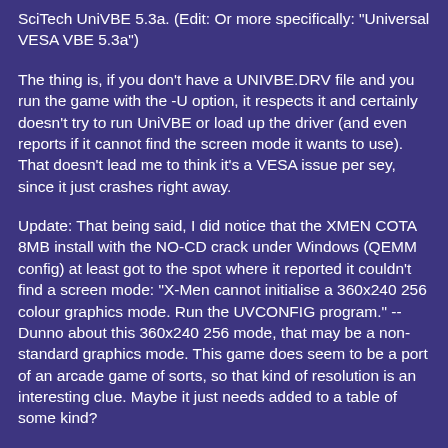SciTech UniVBE 5.3a. (Edit: Or more specifically: "Universal VESA VBE 5.3a")
The thing is, if you don't have a UNIVBE.DRV file and you run the game with the -U option, it respects it and certainly doesn't try to run UniVBE or load up the driver (and even reports if it cannot find the screen mode it wants to use). That doesn't lead me to think it's a VESA issue per sey, since it just crashes right away.
Update: That being said, I did notice that the XMEN COTA 8MB install with the NO-CD crack under Windows (QEMM config) at least got to the spot where it reported it couldn't find a screen mode: "X-Men cannot initialise a 360x240 256 colour graphics mode. Run the UVCONFIG program." -- Dunno about this 360x240 256 mode, that may be a non-standard graphics mode. This game does seem to be a port of an arcade game of sorts, so that kind of resolution is an interesting clue. Maybe it just needs added to a table of some kind?